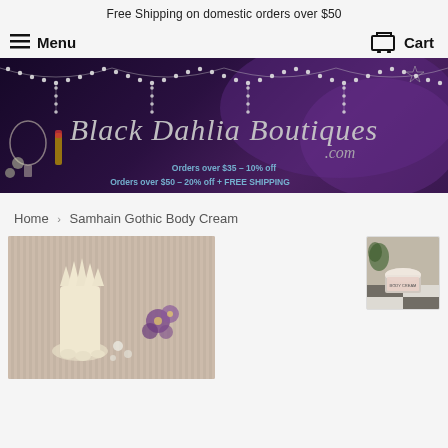Free Shipping on domestic orders over $50
Menu
Cart
[Figure (illustration): Black Dahlia Boutiques banner with pearl garlands on dark purple background, cursive logo text reading 'Black Dahlia Boutiques .com', promotional text about discount offers]
Home › Samhain Gothic Body Cream
[Figure (photo): Main product photo showing cream-colored spiked/gothic candle or lotion container with purple flowers in background]
[Figure (photo): Thumbnail of Samhain Gothic Body Cream product in decorative jar on checkered surface with greenery]